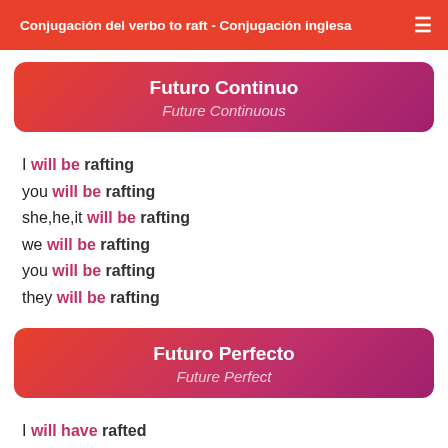Conjugación del verbo to raft - Conjugación inglesa
Futuro Continuo / Future Continuous
I will be rafting
you will be rafting
she,he,it will be rafting
we will be rafting
you will be rafting
they will be rafting
Futuro Perfecto / Future Perfect
I will have rafted
you will have rafted
she,he,it will have rafted
we will have rafted
you will have rafted